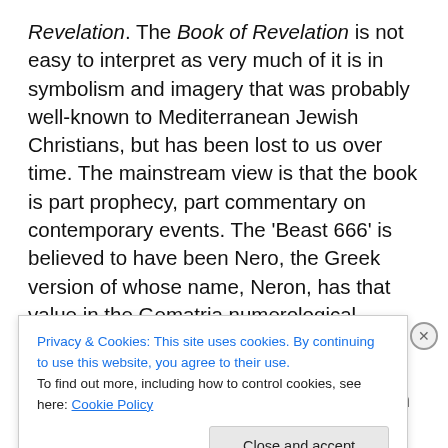Revelation. The Book of Revelation is not easy to interpret as very much of it is in symbolism and imagery that was probably well-known to Mediterranean Jewish Christians, but has been lost to us over time. The mainstream view is that the book is part prophecy, part commentary on contemporary events. The 'Beast 666' is believed to have been Nero, the Greek version of whose name, Neron, has that value in the Gematria numerological system. Not only did Nero persecute Christians, as a young man he also used to dress up as a beast and go around with his fellow aristocratic yahoos attacking ordinary Roman citizens. So
Privacy & Cookies: This site uses cookies. By continuing to use this website, you agree to their use.
To find out more, including how to control cookies, see here: Cookie Policy
Close and accept